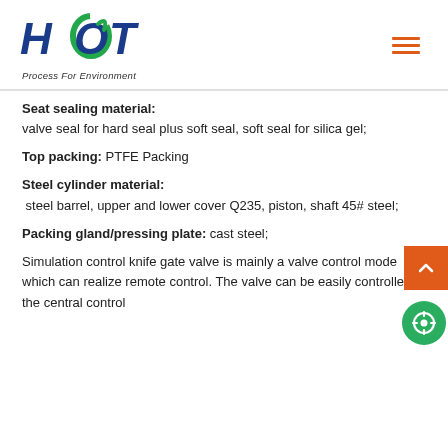[Figure (logo): HOT logo with green swirl in O, blue text 'HOT', tagline 'Process For Environment']
Seat sealing material: valve seal for hard seal plus soft seal, soft seal for silica gel;
Top packing: PTFE Packing
Steel cylinder material: steel barrel, upper and lower cover Q235, piston, shaft 45# steel;
Packing gland/pressing plate: cast steel;
Simulation control knife gate valve is mainly a valve control mode which can realize remote control. The valve can be easily controlled in the central control